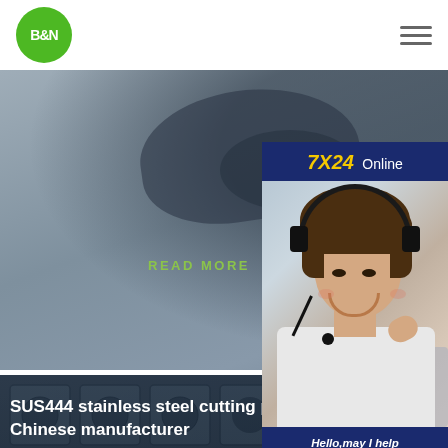B&N [logo] | hamburger menu
[Figure (photo): Gray industrial machinery close-up with READ MORE link text in green]
READ MORE
[Figure (photo): Stainless steel cutting plates with circular holes arranged in a grid pattern, dark blue-gray industrial background]
[Figure (infographic): 7X24 Online customer service widget showing a woman with headset smiling, with Hello may I help you text and Get Latest Price button]
SUS444 stainless steel cutting plate Chinese manufacturer